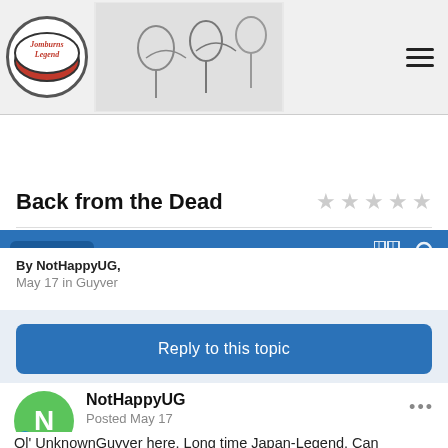[Figure (screenshot): Site header banner with Japan-Legend logo (circular logo with red text and a drawing of figures)]
Guyver
Back from the Dead
By NotHappyUG,
May 17 in Guyver
Reply to this topic
NotHappyUG
Posted May 17
Ol' UnknownGuyver here. Long time Japan-Legend. Can someone get me up to date what is happening with Guyver post book 32?